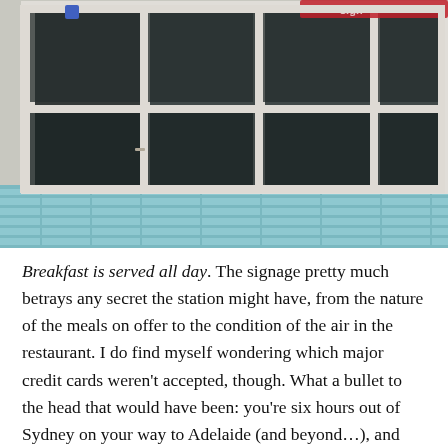[Figure (photo): Exterior of a roadside station or diner with large white-framed windows, light blue brick lower wall, dark interior visible through glass panes, red signage partially visible at top right.]
Breakfast is served all day. The signage pretty much betrays any secret the station might have, from the nature of the meals on offer to the condition of the air in the restaurant. I do find myself wondering which major credit cards weren't accepted, though. What a bullet to the head that would have been: you're six hours out of Sydney on your way to Adelaide (and beyond…), and you pull up at this, the last bastion of fuel before the intimidating Hay Plains begin. The bill is hefty, but so's your credit rating, you think, as you reach for your wallet. You nonchalantly flip your card onto the counter as in so many Amex